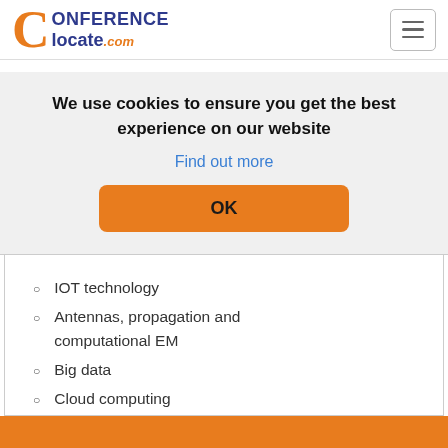[Figure (logo): ConferenceLocate.com logo with orange C and dark blue text]
We use cookies to ensure you get the best experience on our website
Find out more
OK
IOT technology
Antennas, propagation and computational EM
Big data
Cloud computing
RF/Milimeter-wave circuits and systems
Data security